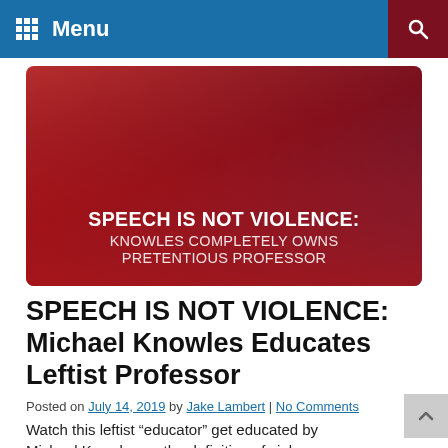Menu
[Figure (photo): Two people at a podium with microphones overlaid with bold text reading 'SPEECH IS NOT VIOLENCE: KNOWLES COMPLETELY OWNS PRETENTIOUS PROFESSOR']
SPEECH IS NOT VIOLENCE: Michael Knowles Educates Leftist Professor
Posted on July 14, 2019 by Jake Lambert | No Comments
Watch this leftist “educator” get educated by Michael Knowles on the definition of violence.